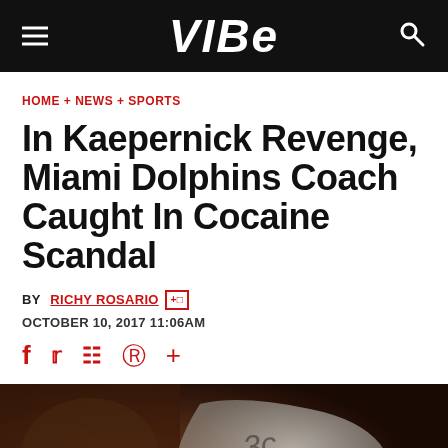VIBE
HOME + NEWS + SPORTS
In Kaepernick Revenge, Miami Dolphins Coach Caught In Cocaine Scandal
BY RICHY ROSARIO
OCTOBER 10, 2017 11:06AM
[Figure (photo): Close-up photo of hands holding a clear plastic bag with a green tag, in a blurred dark background]